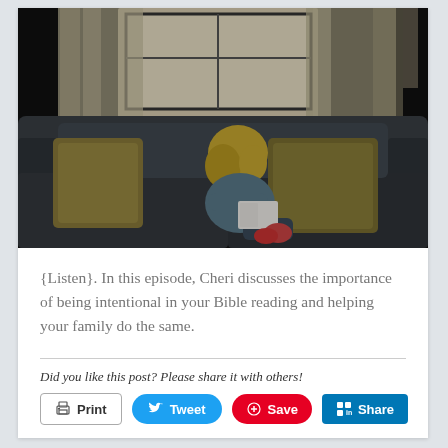[Figure (photo): A young child with blonde hair sitting on a dark gray sofa, reading a book. The sofa has yellow/gold throw pillows. Behind the child is a window with curtains letting in natural light. The room is dimly lit with a moody atmosphere.]
{Listen}. In this episode, Cheri discusses the importance of being intentional in your Bible reading and helping your family do the same.
Did you like this post? Please share it with others!